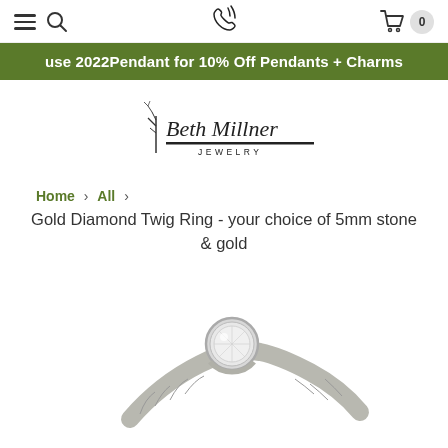Navigation bar with hamburger menu, search icon, phone icon, cart icon, and badge showing 0
use 2022Pendant for 10% Off Pendants + Charms
[Figure (logo): Beth Millner Jewelry logo with stylized tree branch and handwritten-style text]
Home > All >
Gold Diamond Twig Ring - your choice of 5mm stone & gold
[Figure (photo): Close-up photo of a gold diamond twig ring with a round bezel-set diamond on a textured bark-like band]